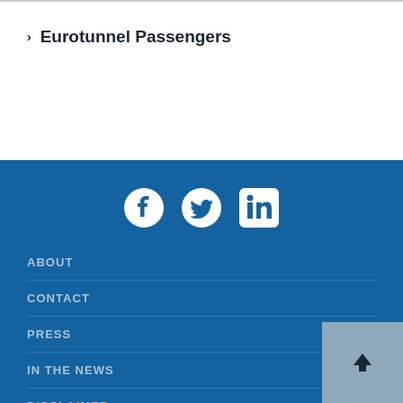> Eurotunnel Passengers
[Figure (infographic): Social media icons: Facebook, Twitter, LinkedIn on blue background]
ABOUT
CONTACT
PRESS
IN THE NEWS
DISCLAIMER